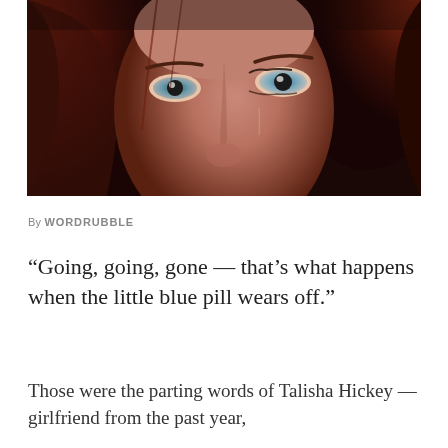[Figure (photo): Close-up portrait of a woman with red hair and blue eyes, cropped to show only the upper half of her face from forehead to chin area. Dark, moody lighting.]
By WORDRUBBLE
“Going, going, gone — that’s what happens when the little blue pill wears off.”
Those were the parting words of Talisha Hickey — girlfriend from the past year,